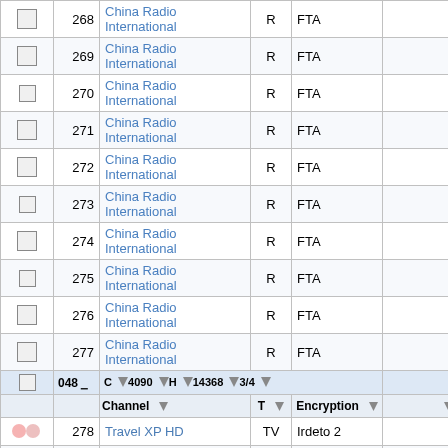|  | Num | Channel | T | Encryption |  |
| --- | --- | --- | --- | --- | --- |
| ☐ | 268 | China Radio International | R | FTA |  |
| ☐ | 269 | China Radio International | R | FTA |  |
| ☐ | 270 | China Radio International | R | FTA |  |
| ☐ | 271 | China Radio International | R | FTA |  |
| ☐ | 272 | China Radio International | R | FTA |  |
| ☐ | 273 | China Radio International | R | FTA |  |
| ☐ | 274 | China Radio International | R | FTA |  |
| ☐ | 275 | China Radio International | R | FTA |  |
| ☐ | 276 | China Radio International | R | FTA |  |
| ☐ | 277 | China Radio International | R | FTA |  |
| [header] | 048 | C  ▼4090  ▼H  ▼14368  ▼3/4 |  |  |  |
|  |  | Channel  ▼  T  ▼  Encryption  ▼ |  |  |  |
| ♡♡ | 278 | Travel XP HD | TV | Irdeto 2 |  |
| ☐ | 279 | Kashish News Channel | TV | FTA |  |
| ♡♡ | 280 | Tazaa Channel | TV | FTA |  |
| ♡♡ | 281 | Love World India | TV | FTA |  |
| ♡♡ | 282 | Janta TV | TV | FTA |  |